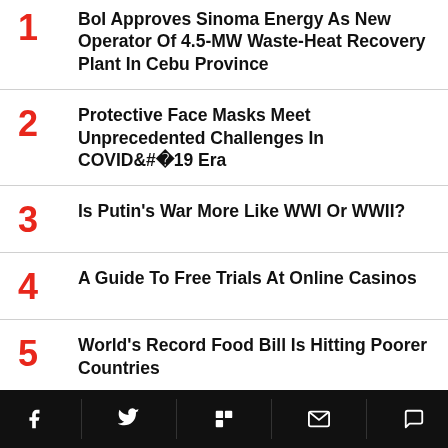1 BoI Approves Sinoma Energy As New Operator Of 4.5-MW Waste-Heat Recovery Plant In Cebu Province
2 Protective Face Masks Meet Unprecedented Challenges In COVID-19 Era
3 Is Putin's War More Like WWI Or WWII?
4 A Guide To Free Trials At Online Casinos
5 World's Record Food Bill Is Hitting Poorer Countries
6 Century Properties Board Clears P6-B Debt Program
Facebook Twitter Flipboard Email Comment